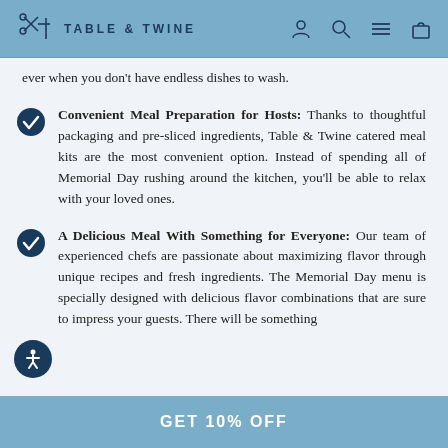TABLE & TWINE
ever when you don't have endless dishes to wash.
Convenient Meal Preparation for Hosts: Thanks to thoughtful packaging and pre-sliced ingredients, Table & Twine catered meal kits are the most convenient option. Instead of spending all of Memorial Day rushing around the kitchen, you'll be able to relax with your loved ones.
A Delicious Meal With Something for Everyone: Our team of experienced chefs are passionate about maximizing flavor through unique recipes and fresh ingredients. The Memorial Day menu is specially designed with delicious flavor combinations that are sure to impress your guests. There will be something
GET 10% OFF